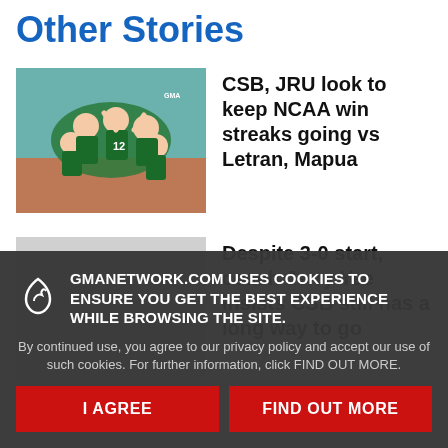Other Stories
[Figure (photo): Volleyball players in green uniforms celebrating on court]
CSB, JRU look to keep NCAA win streaks going vs Letran, Mapua
[Figure (photo): Gray placeholder image for second story]
Despite 3-0 start, coach Jerry Yee insists CSB still has a long way to go
GMANETWORK.COM USES COOKIES TO ENSURE YOU GET THE BEST EXPERIENCE WHILE BROWSING THE SITE.
By continued use, you agree to our privacy policy and accept our use of such cookies. For further information, click FIND OUT MORE.
I AGREE
FIND OUT MORE